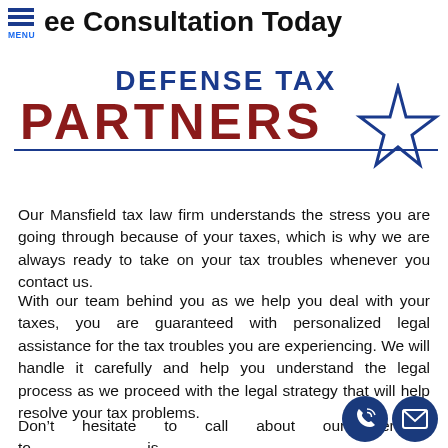ee Consultation Today
[Figure (logo): Defense Tax Partners logo with blue star outline. 'DEFENSE TAX' in bold blue, 'PARTNERS' in bold dark red, with a large blue outlined star to the right.]
Our Mansfield tax law firm understands the stress you are going through because of your taxes, which is why we are always ready to take on your tax troubles whenever you contact us.
With our team behind you as we help you deal with your taxes, you are guaranteed with personalized legal assistance for the tax troubles you are experiencing. We will handle it carefully and help you understand the legal process as we proceed with the legal strategy that will help resolve your tax problems.
Don’t hesitate to call about our services to our is